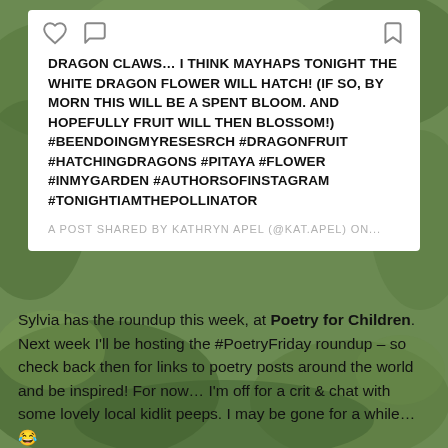[Figure (screenshot): Instagram post screenshot on green garden background. Shows icons (heart, comment, bookmark) at top, then uppercase post text about dragon claws and dragon fruit flower, followed by attribution text in light gray.]
DRAGON CLAWS… I THINK MAYHAPS TONIGHT THE WHITE DRAGON FLOWER WILL HATCH! (IF SO, BY MORN THIS WILL BE A SPENT BLOOM. AND HOPEFULLY FRUIT WILL THEN BLOSSOM!) #BEENDOINGMYRESESRCH #DRAGONFRUIT #HATCHINGDRAGONS #PITAYA #FLOWER #INMYGARDEN #AUTHORSOFINSTAGRAM #TONIGHTIAMTHEPOLLINATOR
A POST SHARED BY KATHRYN APEL (@KAT.APEL) ON...
Sylvia has the roundup this week, at Poetry for Children. Next week I'll be hosting the #PoetryFriday roundup – so check back then for links to poetry posts around the world and be inspired! For now… I'm off for a crit & chat with some lovely local kidlit peeps. I may be gone for a while… 😂